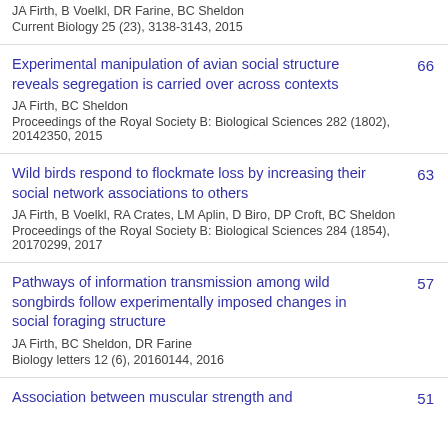JA Firth, B Voelkl, DR Farine, BC Sheldon
Current Biology 25 (23), 3138-3143, 2015
Experimental manipulation of avian social structure reveals segregation is carried over across contexts
JA Firth, BC Sheldon
Proceedings of the Royal Society B: Biological Sciences 282 (1802), 20142350, 2015
66
Wild birds respond to flockmate loss by increasing their social network associations to others
JA Firth, B Voelkl, RA Crates, LM Aplin, D Biro, DP Croft, BC Sheldon
Proceedings of the Royal Society B: Biological Sciences 284 (1854), 20170299, 2017
63
Pathways of information transmission among wild songbirds follow experimentally imposed changes in social foraging structure
JA Firth, BC Sheldon, DR Farine
Biology letters 12 (6), 20160144, 2016
57
Association between muscular strength and
51